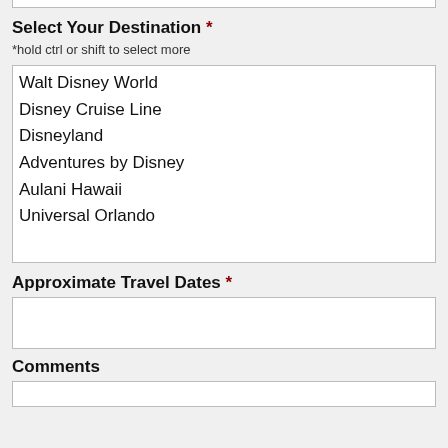Select Your Destination *
*hold ctrl or shift to select more
Walt Disney World
Disney Cruise Line
Disneyland
Adventures by Disney
Aulani Hawaii
Universal Orlando
Approximate Travel Dates *
Comments